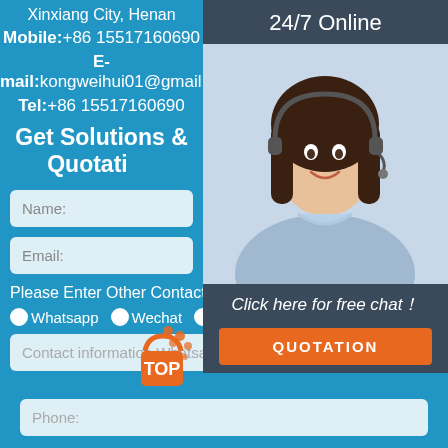Xinxiang City, Henan
Mobile:+86 15517160690
E-mail:kongweihui01@gmail.com
Tel:+86 15517160690
Get Solutions & Quotation
[Figure (photo): Customer service representative wearing headset, smiling, with '24/7 Online' header and 'Click here for free chat!' text, and QUOTATION button]
Name:
Email:
Please Enter Other Contact Information
Whatsapp
Wechat
Skype
Viber
Contact information Whatsapp
Phone: